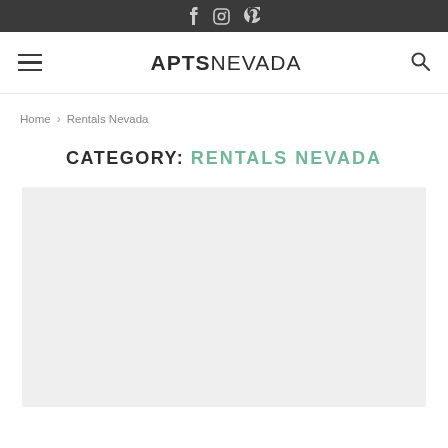Social icons bar (Facebook, Instagram, Pinterest)
APTSNEVADA
Home > Rentals Nevada
CATEGORY: RENTALS NEVADA
[Figure (photo): Light gray image placeholder rectangle]